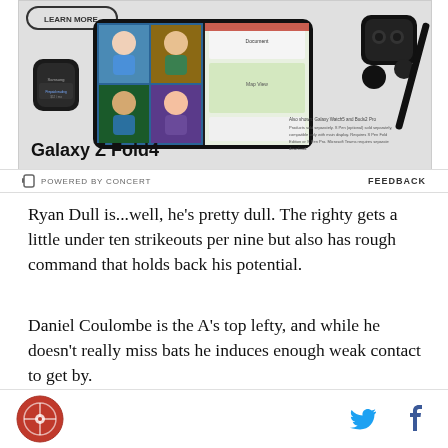[Figure (illustration): Samsung Galaxy Z Fold4 advertisement showing a foldable phone, Galaxy Watch, and earbuds. Text reads 'LEARN MORE', 'Galaxy Z Fold4'. Also shows 'Also shown: Galaxy Watch5 and Buds2 Pro. Products sold separately. S Pen (optional) sold separately, compatible only with main display. Requires S Pen Fold Edition or S Pen Pro. Microsoft Teams requires separate download.']
⚡ POWERED BY CONCERT    FEEDBACK
Ryan Dull is...well, he's pretty dull. The righty gets a little under ten strikeouts per nine but also has rough command that holds back his potential.
Daniel Coulombe is the A's top lefty, and while he doesn't really miss bats he induces enough weak contact to get by.
[Figure (logo): Site logo (circular red badge with stylized design) and social media icons for Twitter and Facebook in the footer bar]